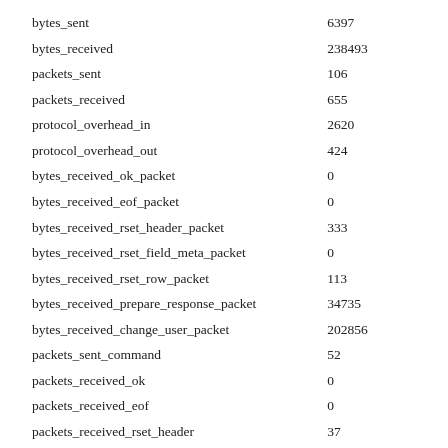|  |  |
| --- | --- |
| bytes_sent | 6397 |
| bytes_received | 238493 |
| packets_sent | 106 |
| packets_received | 655 |
| protocol_overhead_in | 2620 |
| protocol_overhead_out | 424 |
| bytes_received_ok_packet | 0 |
| bytes_received_eof_packet | 0 |
| bytes_received_rset_header_packet | 333 |
| bytes_received_rset_field_meta_packet | 0 |
| bytes_received_rset_row_packet | 113 |
| bytes_received_prepare_response_packet | 34735 |
| bytes_received_change_user_packet | 202856 |
| packets_sent_command | 52 |
| packets_received_ok | 0 |
| packets_received_eof | 0 |
| packets_received_rset_header | 37 |
| packets_received_rset_field_meta | 0 |
| packets_received_rset_row | 19 |
| packets_received_prepare_response | 509 |